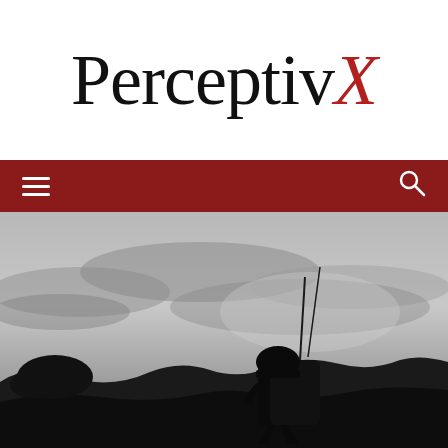[Figure (logo): PerceptivX logo: black serif text 'Perceptiv' followed by red italic 'X']
[Figure (other): Dark red navigation bar with white hamburger menu icon on left and white search icon on right]
[Figure (photo): Black and white photograph of a military soldier silhouette with helmet and large backpack and antenna, walking on rocky terrain against a cloudy sky]